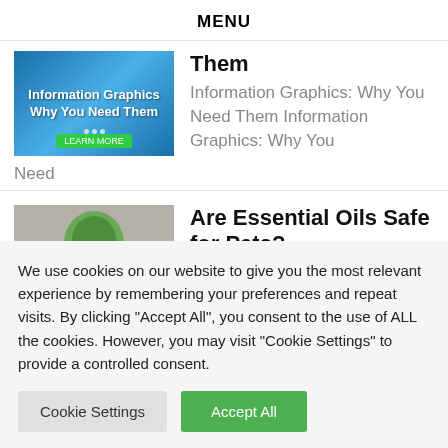MENU
Them
Information Graphics: Why You Need Them Information Graphics: Why You Need
Are Essential Oils Safe for Pets?
Are Essential Oils Harmless to Pets?
We use cookies on our website to give you the most relevant experience by remembering your preferences and repeat visits. By clicking "Accept All", you consent to the use of ALL the cookies. However, you may visit "Cookie Settings" to provide a controlled consent.
Cookie Settings
Accept All